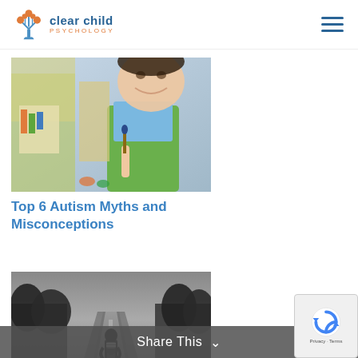clear child psychology
[Figure (photo): Children painting at art class, smiling girl in green apron]
Top 6 Autism Myths and Misconceptions
[Figure (photo): Black and white photo of a person standing on a road in nature]
Share This